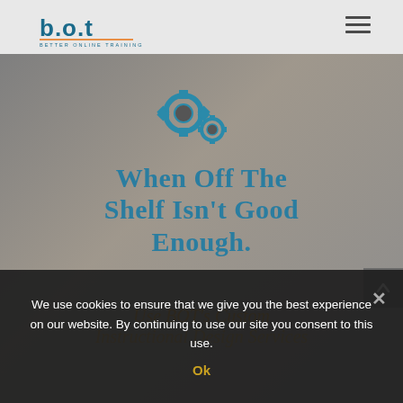[Figure (logo): b.o.t logo - Better Online Training - teal/blue letters with dots between, tagline below]
[Figure (illustration): Two interlocking gear icons in teal/dark gray, representing custom instructional design]
When Off the Shelf Isn't Good Enough.
Use BOT's Custom Instructional Design Services
[Figure (screenshot): Scroll-to-top button, dark gray with upward chevron arrow]
We use cookies to ensure that we give you the best experience on our website. By continuing to use our site you consent to this use.
Ok